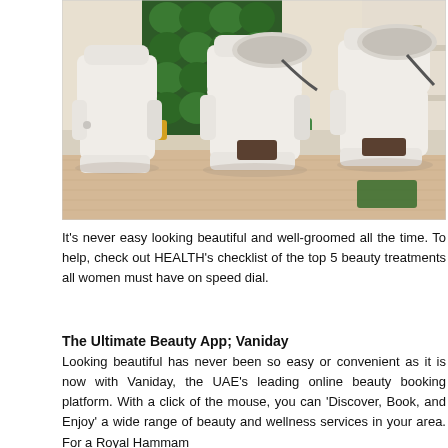[Figure (photo): Interior of a hair salon showing three white reclining shampoo chairs with built-in wash basins, set against a wall with green rolled towels arranged decoratively on shelves.]
It's never easy looking beautiful and well-groomed all the time. To help, check out HEALTH's checklist of the top 5 beauty treatments all women must have on speed dial.
The Ultimate Beauty App; Vaniday
Looking beautiful has never been so easy or convenient as it is now with Vaniday, the UAE's leading online beauty booking platform. With a click of the mouse, you can 'Discover, Book, and Enjoy' a wide range of beauty and wellness services in your area. For a Royal Hammam treatment, I went to... Vaniday... to find the best...